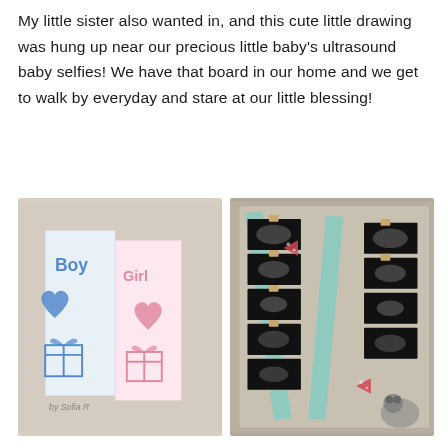My little sister also wanted in, and this cute little drawing was hung up near our precious little baby's ultrasound baby selfies! We have that board in our home and we get to walk by everyday and stare at our little blessing!
[Figure (photo): Two photos side by side. Left: a child's hand-drawn artwork on notebook paper pinned to a wall, showing 'Boy' in blue crayon with a heart and gift box, and 'Girl' in pink crayon with a heart and gift box, signed 'by Sofia R'. Right: A board displaying strips of ultrasound photos clipped with clothespins and decorated with teal striped ribbon and red polka-dot paper arrows.]